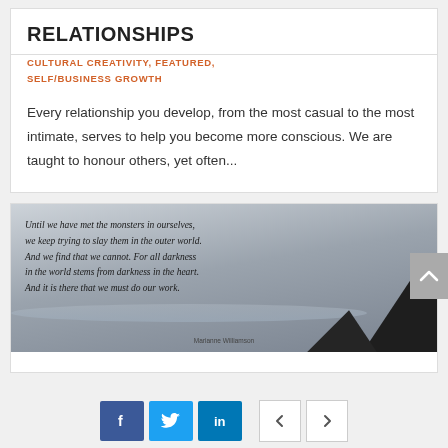RELATIONSHIPS
CULTURAL CREATIVITY, FEATURED, SELF/BUSINESS GROWTH
Every relationship you develop, from the most casual to the most intimate, serves to help you become more conscious. We are taught to honour others, yet often...
[Figure (photo): Inspirational quote image with coastal cliff silhouette background. Quote text: 'Until we have met the monsters in ourselves, we keep trying to slay them in the outer world. And we find that we cannot. For all darkness in the world stems from darkness in the heart. And it is there that we must do our work.' Attribution: Marianne Williamson]